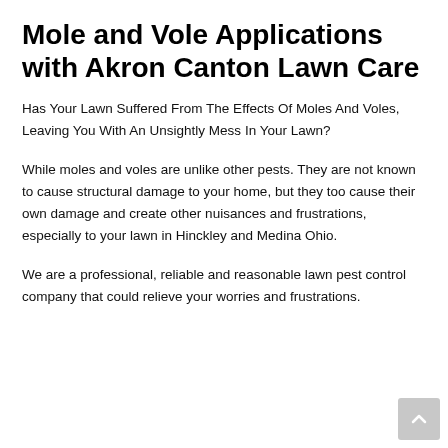Mole and Vole Applications with Akron Canton Lawn Care
Has Your Lawn Suffered From The Effects Of Moles And Voles, Leaving You With An Unsightly Mess In Your Lawn?
While moles and voles are unlike other pests. They are not known to cause structural damage to your home, but they too cause their own damage and create other nuisances and frustrations, especially to your lawn in Hinckley and Medina Ohio.
We are a professional, reliable and reasonable lawn pest control company that could relieve your worries and frustrations.